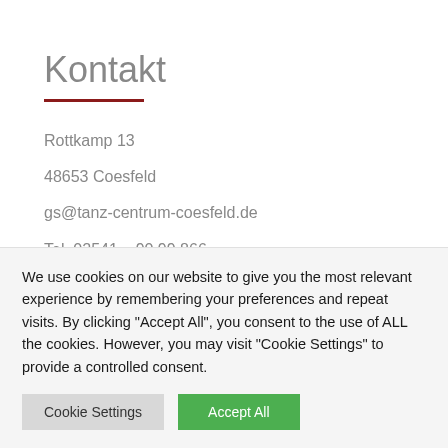Kontakt
Rottkamp 13
48653 Coesfeld
gs@tanz-centrum-coesfeld.de
Tel. 02541 – 90 99 866
Tel. 01579 – 251 80 68
We use cookies on our website to give you the most relevant experience by remembering your preferences and repeat visits. By clicking "Accept All", you consent to the use of ALL the cookies. However, you may visit "Cookie Settings" to provide a controlled consent.